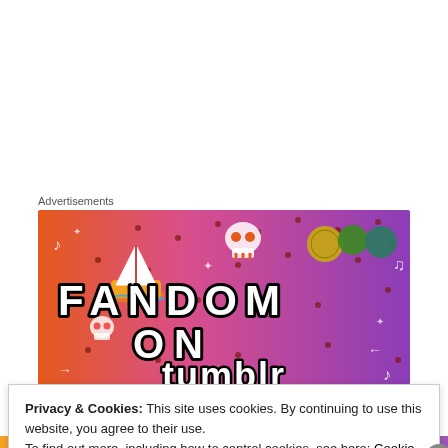Advertisements
[Figure (illustration): Colorful Fandom on Tumblr advertisement banner with a gradient from orange to purple, featuring cartoon icons like a sailboat, skull, dice, and the text 'FANDOM ON tumblr' in bold block letters with doodle-style decorations.]
Drinking to oblivion
Privacy & Cookies: This site uses cookies. By continuing to use this website, you agree to their use.
To find out more, including how to control cookies, see here: Cookie Policy
Close and accept